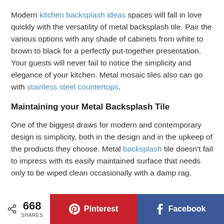Modern kitchen backsplash ideas spaces will fall in love quickly with the versatility of metal backsplash tile. Pair the various options with any shade of cabinets from white to brown to black for a perfectly put-together presentation. Your guests will never fail to notice the simplicity and elegance of your kitchen. Metal mosaic tiles also can go with stainless steel countertops.
Maintaining your Metal Backsplash Tile
One of the biggest draws for modern and contemporary design is simplicity, both in the design and in the upkeep of the products they choose. Metal backsplash tile doesn't fail to impress with its easily maintained surface that needs only to be wiped clean occasionally with a damp rag.
668 SHARES | Pinterest | Facebook